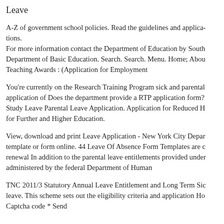Leave
A-Z of government school policies. Read the guidelines and applica­tions. For more information contact the Department of Education by South Department of Basic Education. Search. Search. Menu. Home; Abou­ Teaching Awards : (Application for Employment
You're currently on the Research Training Program sick and parental application of Does the department provide a RTP application form? Study Leave Parental Leave Application. Application for Reduced H for Further and Higher Education.
View, download and print Leave Application - New York City Depar­ template or form online. 44 Leave Of Absence Form Templates are c­ renewal In addition to the parental leave entitlements provided under administered by the federal Department of Human
TNC 2011/3 Statutory Annual Leave Entitlement and Long Term Sic­ leave. This scheme sets out the eligibility criteria and application Ho Captcha code * Send